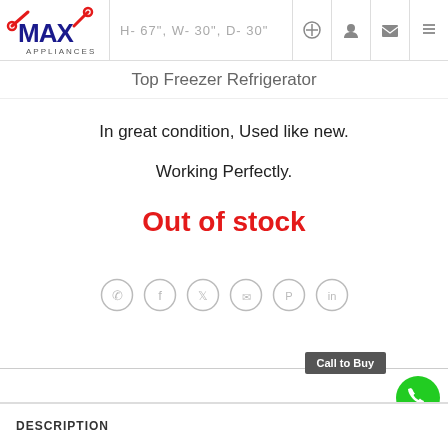H- 67", W- 30", D- 30"
Top Freezer Refrigerator
In great condition, Used like new.
Working Perfectly.
Out of stock
[Figure (other): Social share icons: WhatsApp, Facebook, Twitter, Email, Pinterest, LinkedIn]
Call to Buy
DESCRIPTION